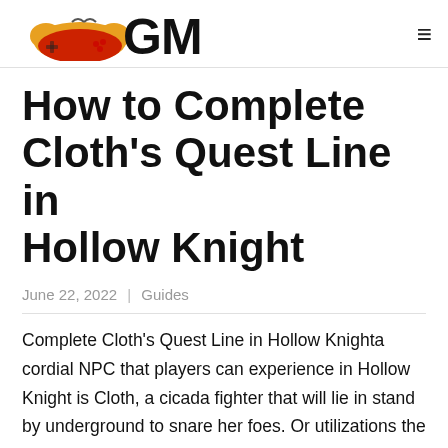GM (logo with game controller icon)
How to Complete Cloth's Quest Line in Hollow Knight
June 22, 2022 | Guides
Complete Cloth's Quest Line in Hollow Knighta cordial NPC that players can experience in Hollow Knight is Cloth, a cicada fighter that will lie in stand by underground to snare her foes. Or utilizations the solace